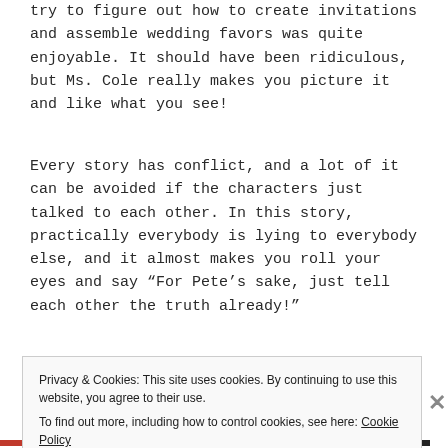try to figure out how to create invitations and assemble wedding favors was quite enjoyable. It should have been ridiculous, but Ms. Cole really makes you picture it and like what you see!
Every story has conflict, and a lot of it can be avoided if the characters just talked to each other. In this story, practically everybody is lying to everybody else, and it almost makes you roll your eyes and say “For Pete’s sake, just tell each other the truth already!”
I especially enjoyed getting to know the members of
Privacy & Cookies: This site uses cookies. By continuing to use this website, you agree to their use.
To find out more, including how to control cookies, see here: Cookie Policy
Close and accept